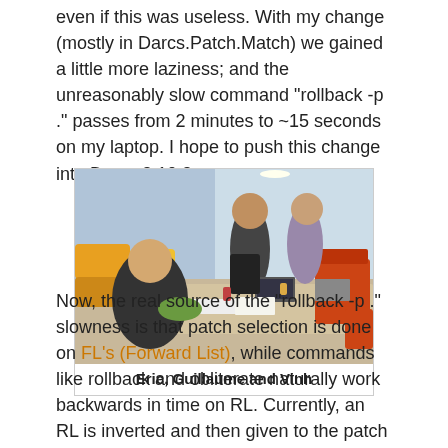even if this was useless. With my change (mostly in Darcs.Patch.Match) we gained a little more laziness; and the unreasonably slow command "rollback -p ." passes from 2 minutes to ~15 seconds on my laptop. I hope to push this change into Darcs 2.10.2.
[Figure (photo): Photo of three people (Eric, Guillaume and Vinh) sitting around a table in an open office space with colorful furniture]
Eric, Guillaume and Vinh
Now, the real source of the "rollback -p ." slowness is that patch selection is done on FL's (Forward List), while commands like rollback and obliterate naturally work backwards in time on RL. Currently, an RL is inverted and then given to the patch selection code, which is not convenient at all! Moreover, the actual representation of